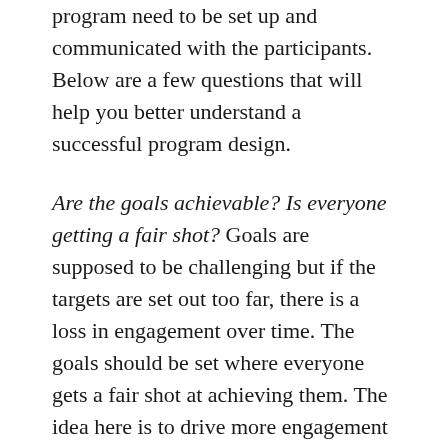program need to be set up and communicated with the participants. Below are a few questions that will help you better understand a successful program design.
Are the goals achievable? Is everyone getting a fair shot? Goals are supposed to be challenging but if the targets are set out too far, there is a loss in engagement over time. The goals should be set where everyone gets a fair shot at achieving them. The idea here is to drive more engagement and with more sales targets being achieved, sales growth will follow.
How motivating is my plan? If your program is structured to get sales reps to sell more than